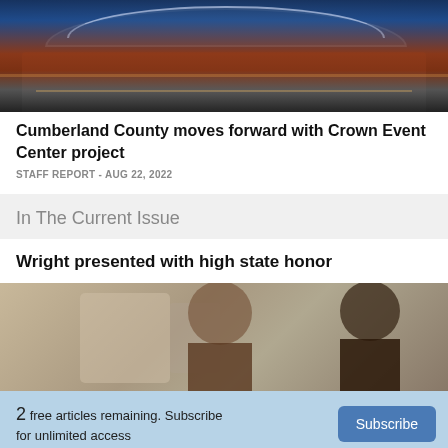[Figure (photo): Night photo of a large sports arena/stadium with illuminated roof structure and warm-lit exterior facade]
Cumberland County moves forward with Crown Event Center project
STAFF REPORT - AUG 22, 2022
In The Current Issue
Wright presented with high state honor
[Figure (photo): Two men posing together indoors against a grey wall background]
2 free articles remaining. Subscribe for unlimited access